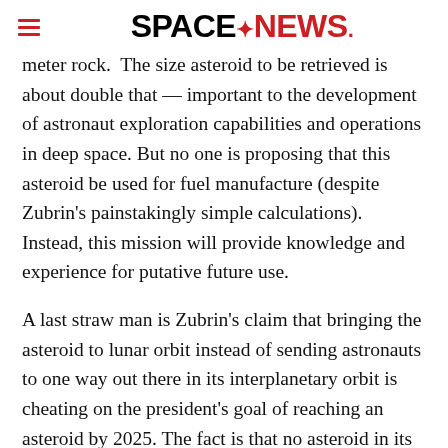SPACENEWS.
meter rock.  The size asteroid to be retrieved is about double that — important to the development of astronaut exploration capabilities and operations in deep space. But no one is proposing that this asteroid be used for fuel manufacture (despite Zubrin's painstakingly simple calculations). Instead, this mission will provide knowledge and experience for putative future use.
A last straw man is Zubrin's claim that bringing the asteroid to lunar orbit instead of sending astronauts to one way out there in its interplanetary orbit is cheating on the president's goal of reaching an asteroid by 2025. The fact is that no asteroid in its natural interplanetary orbit can be reached by 2025 — we have neither crew support vehicles nor rockets capable to that end. We can